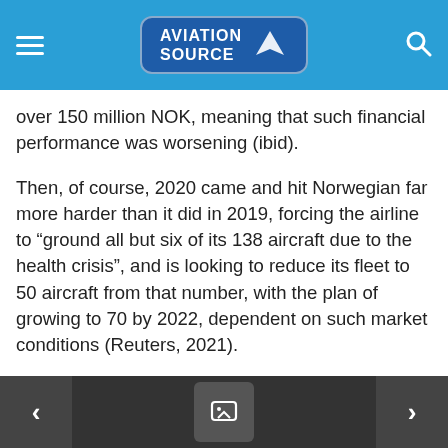Aviation Source
over 150 million NOK, meaning that such financial performance was worsening (ibid).
Then, of course, 2020 came and hit Norwegian far more harder than it did in 2019, forcing the airline to “ground all but six of its 138 aircraft due to the health crisis”, and is looking to reduce its fleet to 50 aircraft from that number, with the plan of growing to 70 by 2022, dependent on such market conditions (Reuters, 2021).
Through such a government lifeline and its restructuring plans, the airline will look to reduce debt to around 20 billion NOK, and hopes to raise around four to five billion more NOK from potential investors (Kev.Aero, 2021).
< [comment icon] >